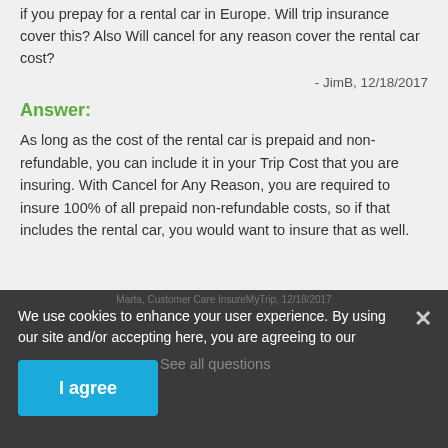If you prepay for a rental car in Europe. Will trip insurance cover this? Also Will cancel for any reason cover the rental car cost?
- JimB, 12/18/2017
Answer:
As long as the cost of the rental car is prepaid and non-refundable, you can include it in your Trip Cost that you are insuring. With Cancel for Any Reason, you are required to insure 100% of all prepaid non-refundable costs, so if that includes the rental car, you would want to insure that as well.
Marta, Customer Care InsureMyTrip, 12/18/2017
We use cookies to enhance your user experience. By using our site and/or accepting here, you are agreeing to our updated Privacy Policy.
See all questions